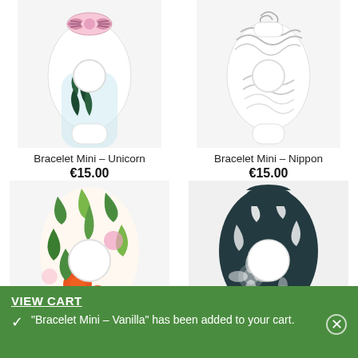[Figure (photo): Bracelet Mini Unicorn product photo - white watch with bow and leaf pattern]
Bracelet Mini – Unicorn
€15.00
[Figure (photo): Bracelet Mini Nippon product photo - white watch with black swirl pattern]
Bracelet Mini – Nippon
€15.00
[Figure (photo): Bracelet Mini tropical floral product photo - colorful tropical flowers and leaves]
[Figure (photo): Bracelet Mini dark floral product photo - dark navy with white floral pattern]
VIEW CART
"Bracelet Mini – Vanilla" has been added to your cart.